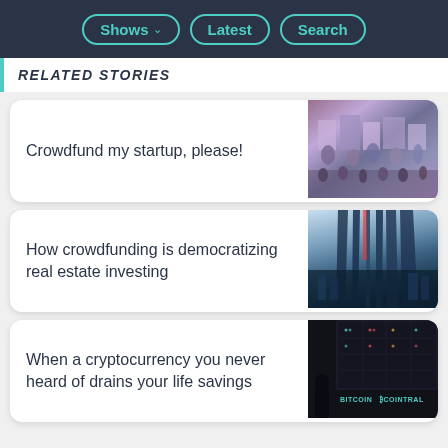Shows  Latest  Search
RELATED STORIES
Crowdfund my startup, please!
[Figure (photo): Overhead view of a crowded event/startup fair with colorful displays and many people]
How crowdfunding is democratizing real estate investing
[Figure (photo): Looking up at tall city skyscrapers from ground level, sky visible between buildings]
When a cryptocurrency you never heard of drains your life savings
[Figure (photo): Silhouette of person in front of large cryptocurrency trading board showing BITCOIN and COINTRAL]